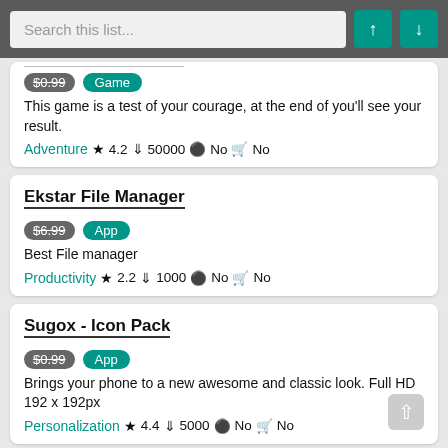[Figure (screenshot): Search bar UI with teal up/down navigation buttons on dark gray background]
$0.99 Game | This game is a test of your courage, at the end of you'll see your result. | Adventure ★ 4.2 ↓ 50000 ⊗ No 🛒 No
Ekstar File Manager | $6.99 App | Best File manager | Productivity ★ 2.2 ↓ 1000 ⊗ No 🛒 No
Sugox - Icon Pack | $0.99 App | Brings your phone to a new awesome and classic look. Full HD 192 x 192px | Personalization ★ 4.4 ↓ 5000 ⊗ No 🛒 No